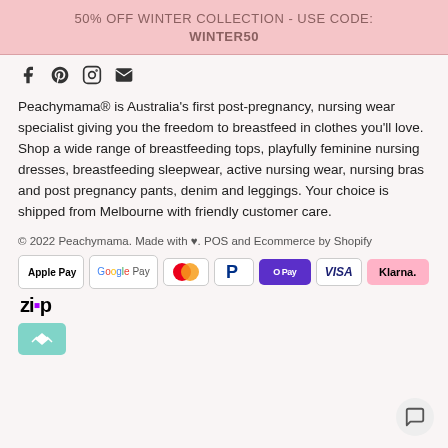50% OFF WINTER COLLECTION - USE CODE: WINTER50
[Figure (infographic): Social media icons: Facebook (f), Pinterest (p), Instagram (camera), Email (envelope)]
Peachymama® is Australia's first post-pregnancy, nursing wear specialist giving you the freedom to breastfeed in clothes you'll love. Shop a wide range of breastfeeding tops, playfully feminine nursing dresses, breastfeeding sleepwear, active nursing wear, nursing bras and post pregnancy pants, denim and leggings. Your choice is shipped from Melbourne with friendly customer care.
© 2022 Peachymama. Made with ♥. POS and Ecommerce by Shopify
[Figure (logo): Payment method logos: Apple Pay, Google Pay, Mastercard, PayPal, OPay, VISA, Klarna, Zip, Afterpay]